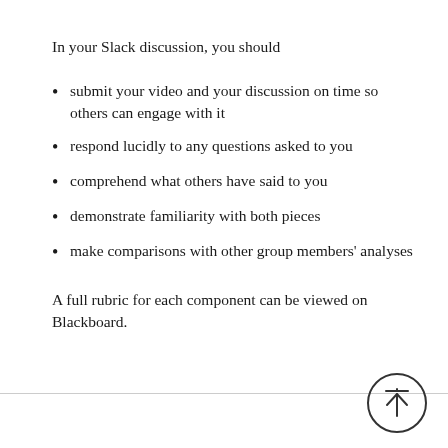In your Slack discussion, you should
submit your video and your discussion on time so others can engage with it
respond lucidly to any questions asked to you
comprehend what others have said to you
demonstrate familiarity with both pieces
make comparisons with other group members' analyses
A full rubric for each component can be viewed on Blackboard.